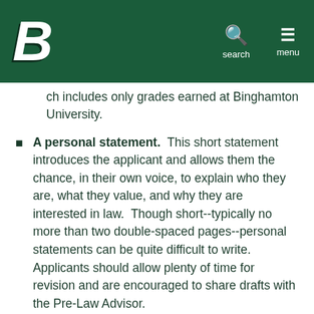Binghamton University header with logo and navigation (search, menu)
ch includes only grades earned at Binghamton University.
A personal statement.  This short statement introduces the applicant and allows them the chance, in their own voice, to explain who they are, what they value, and why they are interested in law.  Though short--typically no more than two double-spaced pages--personal statements can be quite difficult to write.  Applicants should allow plenty of time for revision and are encouraged to share drafts with the Pre-Law Advisor.
A résumé.  Because the law school application is a graduate school application, the résumé